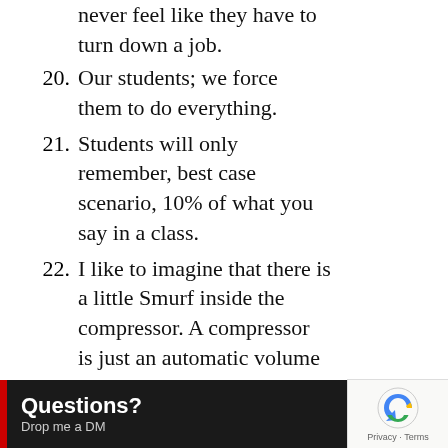never feel like they have to turn down a job.
20. Our students; we force them to do everything.
21. Students will only remember, best case scenario, 10% of what you say in a class.
22. I like to imagine that there is a little Smurf inside the compressor. A compressor is just an automatic volume knob. Just imagine that there's a little Smurf with a
[Figure (other): Questions? Drop me a DM overlay bar with red accent and reCAPTCHA badge]
Questions? Drop me a DM